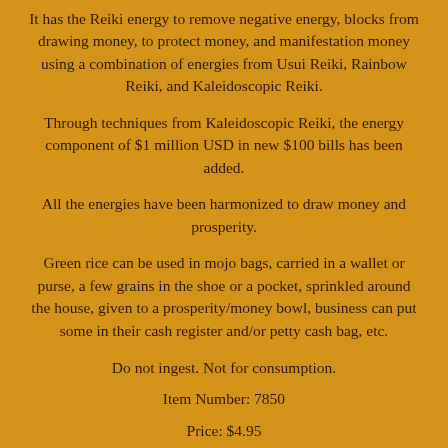It has the Reiki energy to remove negative energy, blocks from drawing money, to protect money, and manifestation money using a combination of energies from Usui Reiki, Rainbow Reiki, and Kaleidoscopic Reiki.
Through techniques from Kaleidoscopic Reiki, the energy component of $1 million USD in new $100 bills has been added.
All the energies have been harmonized to draw money and prosperity.
Green rice can be used in mojo bags, carried in a wallet or purse, a few grains in the shoe or a pocket, sprinkled around the house, given to a prosperity/money bowl, business can put some in their cash register and/or petty cash bag, etc.
Do not ingest. Not for consumption.
Item Number: 7850
Price: $4.95
Available: 59